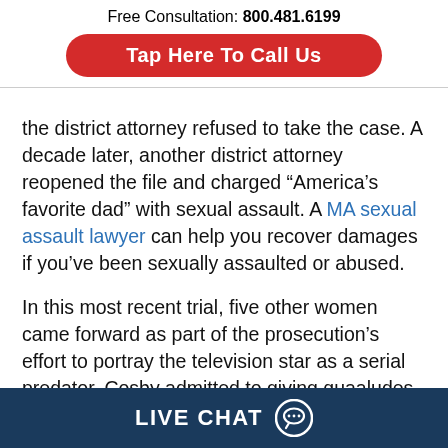Free Consultation: 800.481.6199
Tap Here To Call Us
the district attorney refused to take the case. A decade later, another district attorney reopened the file and charged “America’s favorite dad” with sexual assault. A MA sexual assault lawyer can help you recover damages if you’ve been sexually assaulted or abused.
In this most recent trial, five other women came forward as part of the prosecution’s effort to portray the television star as a serial predator. Cosby admitted to giving quaaludes to women he wanted to have sex with
LIVE CHAT